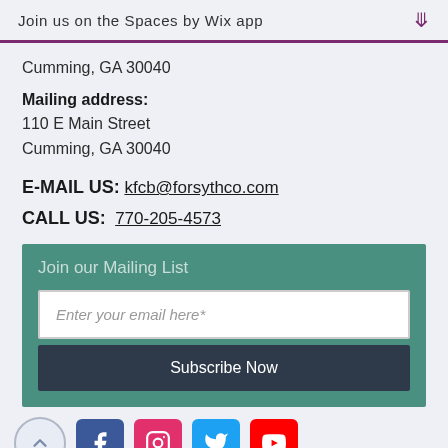Join us on the Spaces by Wix app
Cumming, GA 30040
Mailing address:
110 E Main Street
Cumming, GA 30040
E-MAIL US: kfcb@forsythco.com
CALL US: 770-205-4573
Join our Mailing List
Enter your email here*
Subscribe Now
[Figure (infographic): Social media icons row: scroll-up button, Facebook, Instagram, Twitter, YouTube]